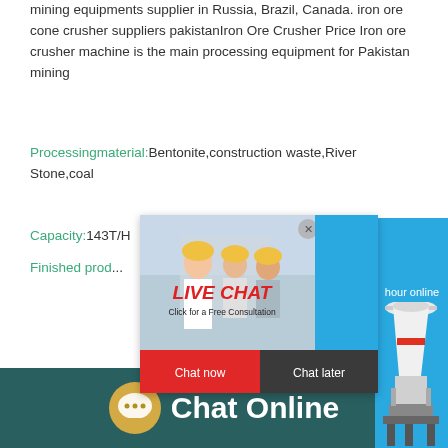mining equipments supplier in Russia, Brazil, Canada. iron ore cone crusher suppliers pakistanIron Ore Crusher Price Iron ore crusher machine is the main processing equipment for Pakistan mining
Processingmaterial: Bentonite,construction waste,River Stone,coal
Capacity: 143T/H
Finished prod... hour online
[Figure (screenshot): Live chat popup overlay showing workers with yellow hard hats, LIVE CHAT title in red italic, 'Click for a Free Consultation' subtitle, Chat now (red) and Chat later (dark) buttons]
[Figure (photo): Mining equipment and machinery outdoors with cloudy sky and palm trees]
[Figure (screenshot): Right side blue panel showing cone crusher machine image and 'Click me to chat>>' button]
Chat Online